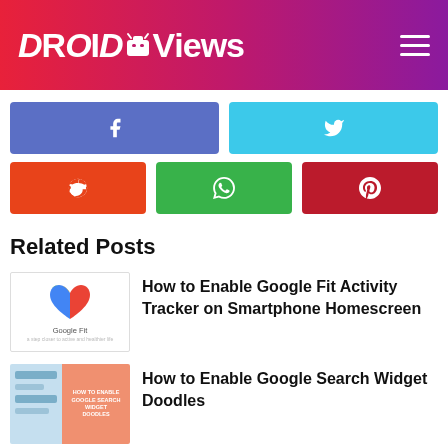DroidViews
[Figure (screenshot): Social share buttons: Facebook and Twitter in row 1; Reddit, WhatsApp, Pinterest in row 2]
Related Posts
[Figure (photo): Google Fit logo thumbnail]
How to Enable Google Fit Activity Tracker on Smartphone Homescreen
[Figure (photo): How to Enable Google Search Widget Doodles thumbnail]
How to Enable Google Search Widget Doodles